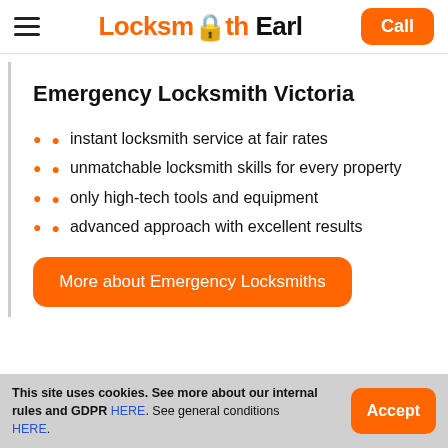Locksmith Earl — Call
Emergency Locksmith Victoria
instant locksmith service at fair rates
unmatchable locksmith skills for every property
only high-tech tools and equipment
advanced approach with excellent results
More about Emergency Locksmiths
This site uses cookies. See more about our internal rules and GDPR HERE. See general conditions HERE.